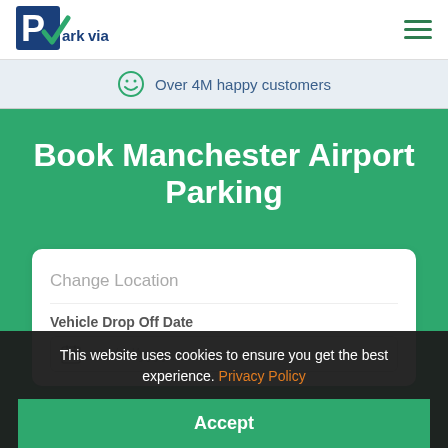[Figure (logo): ParkVia logo with blue P in box and green checkmark]
Over 4M happy customers
Book Manchester Airport Parking
Change Location
Vehicle Drop Off Date
mm/dd/yyyy
This website uses cookies to ensure you get the best experience. Privacy Policy
Accept